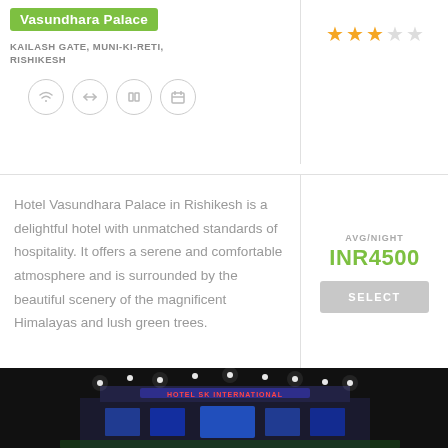Vasundhara Palace
KAILASH GATE, MUNI-KI-RETI, RISHIKESH
[Figure (other): Four circular amenity icons showing wifi, arrows, pause, and calendar symbols]
[Figure (other): 3.5 star rating shown with 3 filled gold stars and 2 empty grey stars]
Hotel Vasundhara Palace in Rishikesh is a delightful hotel with unmatched standards of hospitality. It offers a serene and comfortable atmosphere and is surrounded by the beautiful scenery of the magnificent Himalayas and lush green trees.
AVG/NIGHT
INR4500
SELECT
[Figure (photo): Nighttime photo of Hotel SK International with neon signage and illuminated decorative lights on the facade, dark background]